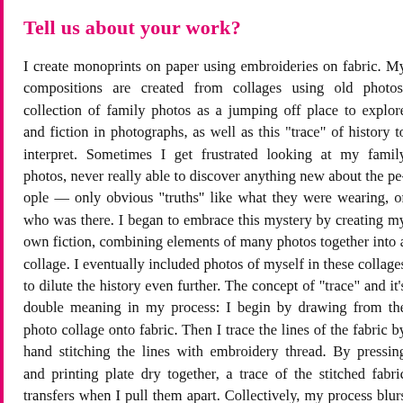Tell us about your work?
I create monoprints on paper using embroideries on fabric. My compositions are created from collages using old photos, collection of family photos as a jumping off place to explore fact and fiction in photographs, as well as this "trace" of history to interpret. Sometimes I get frustrated looking at my family photos, never really able to discover anything new about the people — only obvious "truths" like what they were wearing, or who was there. I began to embrace this mystery by creating my own fiction, combining elements of many photos together into a collage. I eventually included photos of myself in these collages to dilute the history even further. The concept of "trace" and it's double meaning in my process: I begin by drawing from the photo collage onto fabric. Then I trace the lines of the fabric by hand stitching the lines with embroidery thread. By pressing and printing plate dry together, a trace of the stitched fabric transfers when I pull them apart. Collectively, my process blurs the line of fact and fiction, and makes it a challenge for the audience to tell how much is real.